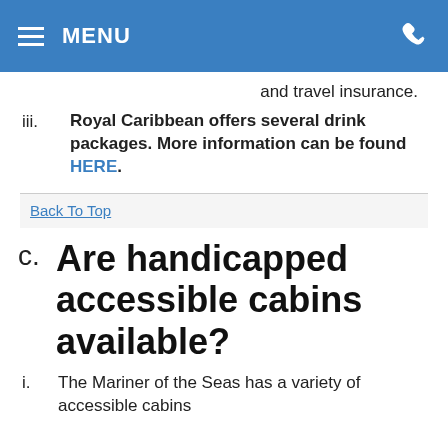MENU
and travel insurance.
iii. Royal Caribbean offers several drink packages. More information can be found HERE.
Back To Top
c. Are handicapped accessible cabins available?
i. The Mariner of the Seas has a variety of accessible cabins